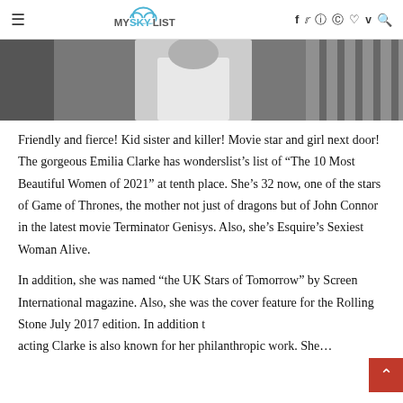MySkyList navigation header with logo and social icons
[Figure (photo): Cropped photo of a person in a white tank top, partial torso visible, with dark background and diagonal structural elements on the right.]
Friendly and fierce! Kid sister and killer! Movie star and girl next door! The gorgeous Emilia Clarke has wonderslist's list of “The 10 Most Beautiful Women of 2021” at tenth place. She’s 32 now, one of the stars of Game of Thrones, the mother not just of dragons but of John Connor in the latest movie Terminator Genisys. Also, she’s Esquire’s Sexiest Woman Alive.
In addition, she was named “the UK Stars of Tomorrow” by Screen International magazine. Also, she was the cover feature for the Rolling Stone July 2017 edition. In addition to acting Clarke is also known for her philanthropic work. She…